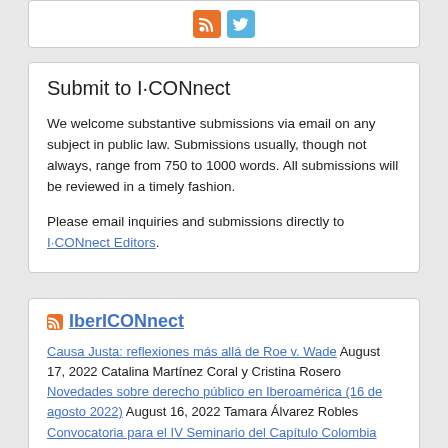[Figure (logo): Top card with orange RSS icon and blue Twitter bird icon]
Submit to I·CONnect
We welcome substantive submissions via email on any subject in public law. Submissions usually, though not always, range from 750 to 1000 words. All submissions will be reviewed in a timely fashion.
Please email inquiries and submissions directly to I·CONnect Editors.
IberICONnect
Causa Justa: reflexiones más allá de Roe v. Wade August 17, 2022 Catalina Martínez Coral y Cristina Rosero
Novedades sobre derecho público en Iberoamérica (16 de agosto 2022) August 16, 2022 Tamara Álvarez Robles
Convocatoria para el IV Seminario del Capítulo Colombia ICON•S August 12, 2022 ICON-S Colombia